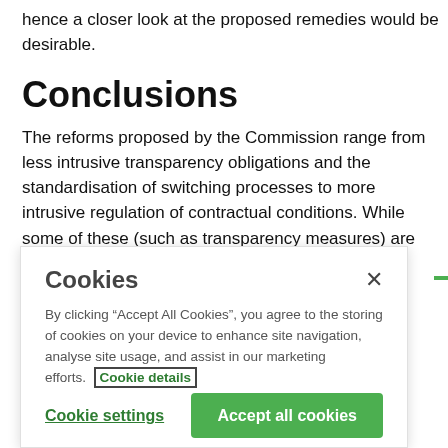hence a closer look at the proposed remedies would be desirable.
Conclusions
The reforms proposed by the Commission range from less intrusive transparency obligations and the standardisation of switching processes to more intrusive regulation of contractual conditions. While some of these (such as transparency measures) are relatively uncontroversial, others
Cookies
By clicking “Accept All Cookies”, you agree to the storing of cookies on your device to enhance site navigation, analyse site usage, and assist in our marketing efforts. Cookie details
Cookie settings
Accept all cookies